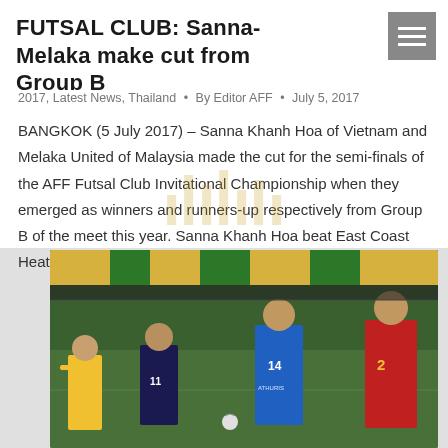FUTSAL CLUB: Sanna-Melaka make cut from Group B
2017, Latest News, Thailand • By Editor AFF • July 5, 2017
BANGKOK (5 July 2017) – Sanna Khanh Hoa of Vietnam and Melaka United of Malaysia made the cut for the semi-finals of the AFF Futsal Club Invitational Championship when they emerged as winners and runners-up respectively from Group B of the meet this year. Sanna Khanh Hoa beat East Coast Heat of Australia 6-2 while…
[Figure (photo): Futsal match in progress with players in red, blue, and dark jerseys competing on an indoor court with green and yellow stadium seats in the background. A referee in yellow is visible on the left.]